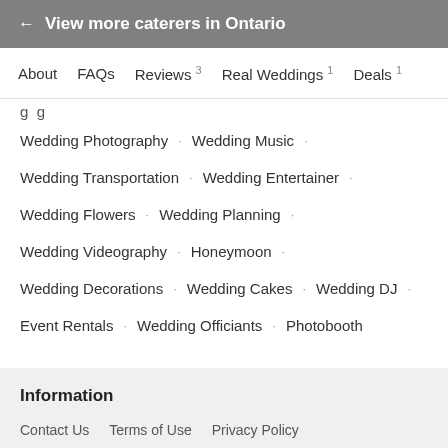← View more caterers in Ontario
About  FAQs  Reviews 3  Real Weddings 1  Deals 1
Wedding Photography · Wedding Music ·
Wedding Transportation · Wedding Entertainer ·
Wedding Flowers · Wedding Planning ·
Wedding Videography · Honeymoon ·
Wedding Decorations · Wedding Cakes · Wedding DJ ·
Event Rentals · Wedding Officiants · Photobooth
Information
Contact Us  Terms of Use  Privacy Policy